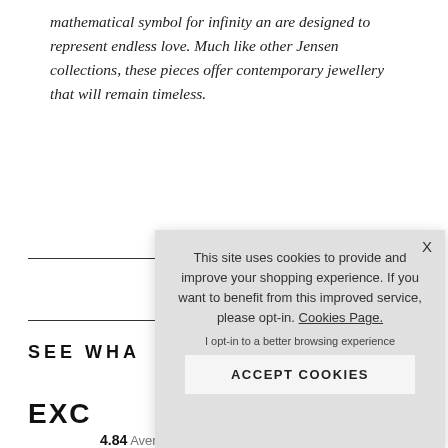mathematical symbol for infinity an are designed to represent endless love. Much like other Jensen collections, these pieces offer contemporary jewellery that will remain timeless.
SEE WHA
EXC
4.84 Average  277 Reviews
[Figure (screenshot): Cookie consent overlay dialog with text: 'This site uses cookies to provide and improve your shopping experience. If you want to benefit from this improved service, please opt-in. Cookies Page.' with 'I opt-in to a better browsing experience' link and 'ACCEPT COOKIES' button. Close button 'X' in top right corner.]